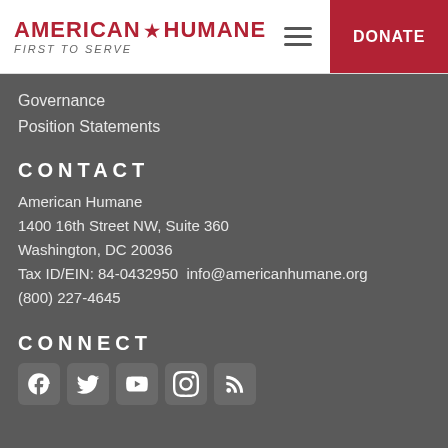AMERICAN HUMANE FIRST TO SERVE — DONATE
Governance
Position Statements
CONTACT
American Humane
1400 16th Street NW, Suite 360
Washington, DC 20036
Tax ID/EIN: 84-0432950  info@americanhumane.org
(800) 227-4645
CONNECT
[Figure (illustration): Social media icons: Facebook, Twitter, YouTube, Instagram, RSS feed]